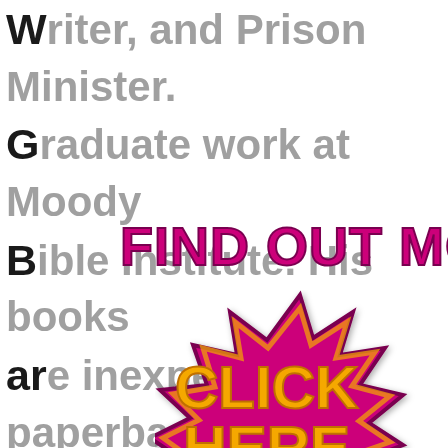Writer, and Prison Minister. Graduate work at Moody Bible Institute. His books are inexpensive paperbacks that are theological in nature. Children The Gospel/How to Raise Godly Children Babies/Why Does Suffering Omit Last blind
[Figure (infographic): A pink/magenta starburst badge with orange text reading CLICK HERE, overlaid on the page background]
FIND OUT MORE
CLICK HERE